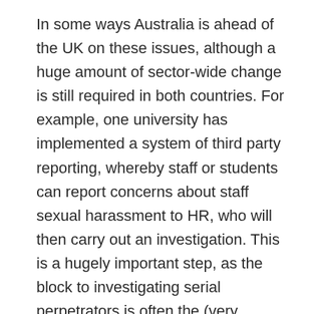In some ways Australia is ahead of the UK on these issues, although a huge amount of sector-wide change is still required in both countries. For example, one university has implemented a system of third party reporting, whereby staff or students can report concerns about staff sexual harassment to HR, who will then carry out an investigation. This is a hugely important step, as the block to investigating serial perpetrators is often the (very understandable) reluctance of students to make a formal complaint against a staff member who may have substantial power over their career. However, as well as these